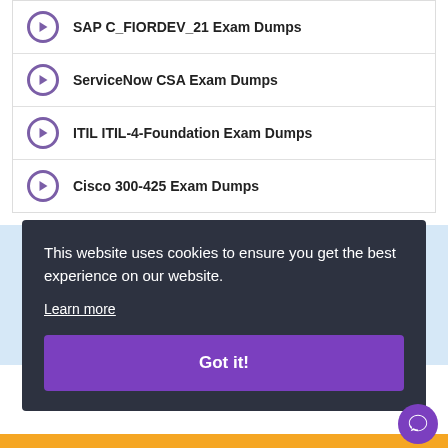SAP C_FIORDEV_21 Exam Dumps
ServiceNow CSA Exam Dumps
ITIL ITIL-4-Foundation Exam Dumps
Cisco 300-425 Exam Dumps
How to Open Test Engine .dumpsarena Files
Use FREE DumpsArena Test Engine player to open .dumpsarena files
[Figure (screenshot): Screenshot of test engine application]
This website uses cookies to ensure you get the best experience on our website.
Learn more
Got it!